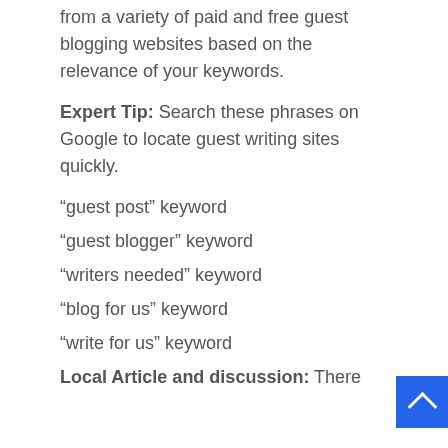from a variety of paid and free guest blogging websites based on the relevance of your keywords.
Expert Tip: Search these phrases on Google to locate guest writing sites quickly.
“guest post” keyword
“guest blogger” keyword
“writers needed” keyword
“blog for us” keyword
“write for us” keyword
Local Article and discussion: There